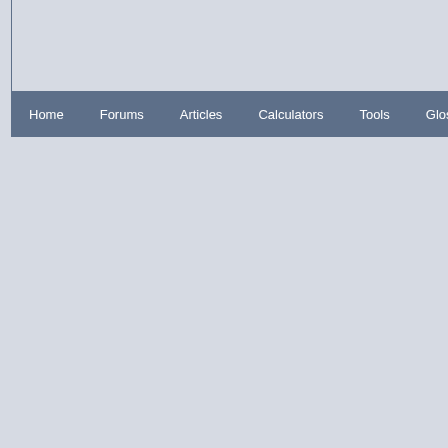Home | Forums | Articles | Calculators | Tools | Glossary | Sitemap